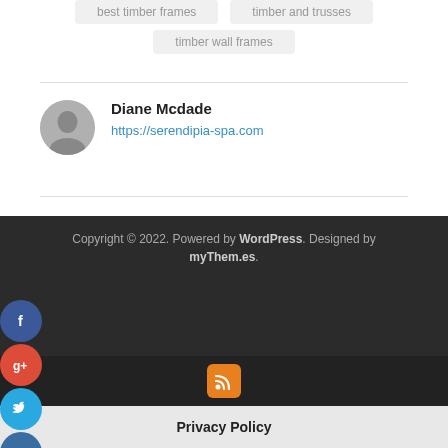best timber frames
timber and trusses
timber wall frames
Diane Mcdade
https://serendipia-spa.com
Copyright © 2022. Powered by WordPress. Designed by myThem.es.
Privacy Policy